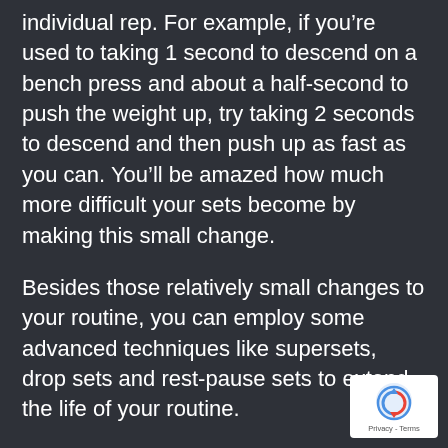individual rep. For example, if you’re used to taking 1 second to descend on a bench press and about a half-second to push the weight up, try taking 2 seconds to descend and then push up as fast as you can. You’ll be amazed how much more difficult your sets become by making this small change.
Besides those relatively small changes to your routine, you can employ some advanced techniques like supersets, drop sets and rest-pause sets to extend the life of your routine.
Supersets involve immediately following
[Figure (logo): reCAPTCHA logo badge with privacy and terms text]